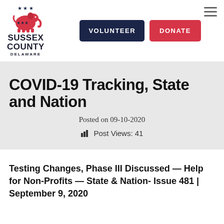[Figure (logo): Sussex County Delaware Republican Party logo with elephant graphic and text]
COVID-19 Tracking, State and Nation
Posted on 09-10-2020
Post Views: 41
Testing Changes, Phase III Discussed — Help for Non-Profits — State & Nation- Issue 481 | September 9, 2020